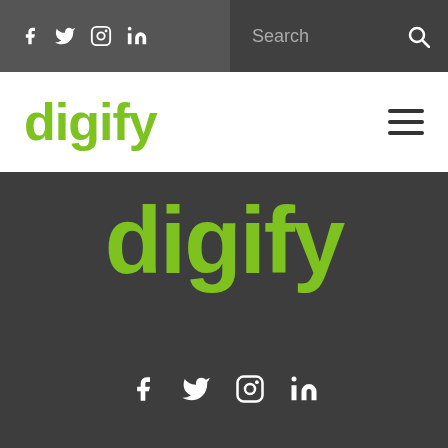f  🐦  📷  in  |  Search  🔍
[Figure (logo): Digify logo in green on white background with hamburger menu icon]
[Figure (logo): Digify logo large in green on dark gray background]
f  🐦  📷  in